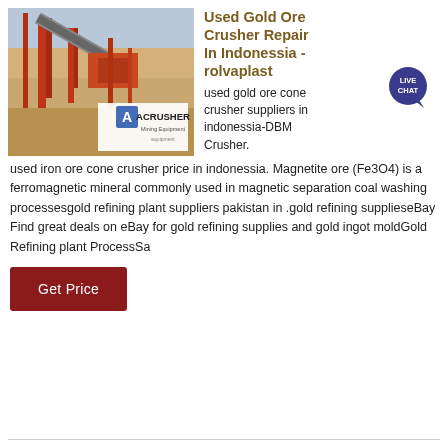[Figure (photo): Mining equipment / ore crusher machinery at an industrial site with ACRUSHER Mining Equipment logo overlay]
Used Gold Ore Crusher Repair In Indonessia - rolvaplast
[Figure (illustration): Live Chat speech bubble icon with text LIVE CHAT]
used gold ore cone crusher suppliers in indonessia-DBM Crusher. used iron ore cone crusher price in indonessia. Magnetite ore (Fe3O4) is a ferromagnetic mineral commonly used in magnetic separation coal washing processesgold refining plant suppliers pakistan in .gold refining supplieseBay Find great deals on eBay for gold refining supplies and gold ingot moldGold Refining plant ProcessSa
Get Price